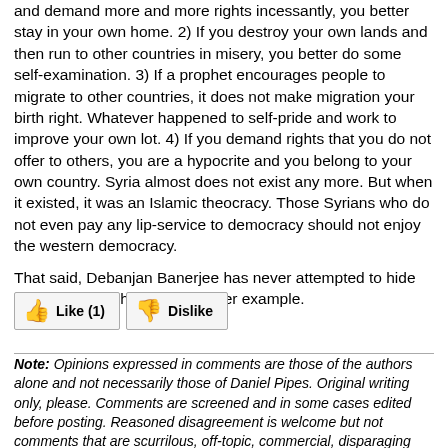and demand more and more rights incessantly, you better stay in your own home. 2) If you destroy your own lands and then run to other countries in misery, you better do some self-examination. 3) If a prophet encourages people to migrate to other countries, it does not make migration your birth right. Whatever happened to self-pride and work to improve your own lot. 4) If you demand rights that you do not offer to others, you are a hypocrite and you belong to your own country. Syria almost does not exist any more. But when it existed, it was an Islamic theocracy. Those Syrians who do not even pay any lip-service to democracy should not enjoy the western democracy.
That said, Debanjan Banerjee has never attempted to hide his hypocrisy. This is yet another example.
[Figure (other): Like (1) and Dislike buttons with thumbs up and thumbs down icons]
Note: Opinions expressed in comments are those of the authors alone and not necessarily those of Daniel Pipes. Original writing only, please. Comments are screened and in some cases edited before posting. Reasoned disagreement is welcome but not comments that are scurrilous, off-topic, commercial, disparaging religions, or otherwise inappropriate. For complete regulations, see the "Guidelines for Reader Comments"